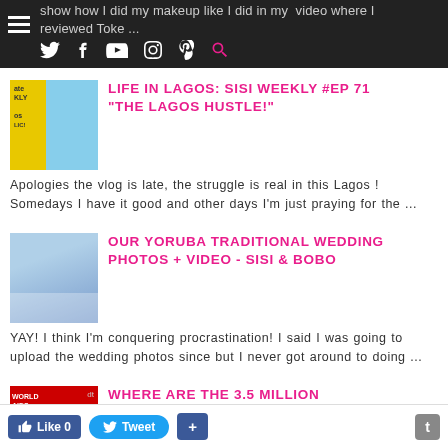show how I did my makeup like I did in my video where I reviewed Toke ...
LIFE IN LAGOS: SISI WEEKLY #EP 71 "THE LAGOS HUSTLE!"
Apologies the vlog is late, the struggle is real in this Lagos ! Somedays I have it good and other days I'm just praying for the ...
OUR YORUBA TRADITIONAL WEDDING PHOTOS + VIDEO - SISI & BOBO
YAY! I think I'm conquering procrastination! I said I was going to upload the wedding photos since but I never got around to doing ...
WHERE ARE THE 3.5 MILLION
Like 0   Tweet   +   t